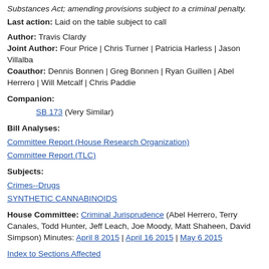Substances Act; amending provisions subject to a criminal penalty.
Last action: Laid on the table subject to call
Author: Travis Clardy
Joint Author: Four Price | Chris Turner | Patricia Harless | Jason Villalba
Coauthor: Dennis Bonnen | Greg Bonnen | Ryan Guillen | Abel Herrero | Will Metcalf | Chris Paddie
Companion:
SB 173 (Very Similar)
Bill Analyses:
Committee Report (House Research Organization)
Committee Report (TLC)
Subjects:
Crimes--Drugs
SYNTHETIC CANNABINOIDS
House Committee: Criminal Jurisprudence (Abel Herrero, Terry Canales, Todd Hunter, Jeff Leach, Joe Moody, Matt Shaheen, David Simpson) Minutes: April 8 2015 | April 16 2015 | May 6 2015
Index to Sections Affected